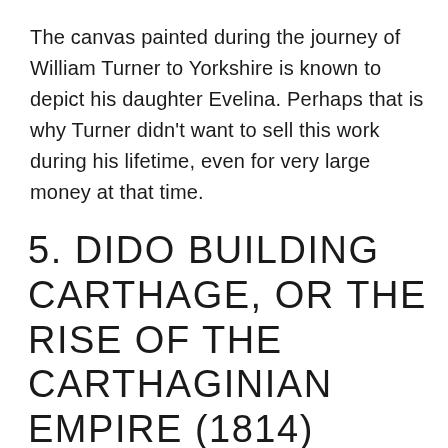The canvas painted during the journey of William Turner to Yorkshire is known to depict his daughter Evelina. Perhaps that is why Turner didn't want to sell this work during his lifetime, even for very large money at that time.
5. DIDO BUILDING CARTHAGE, OR THE RISE OF THE CARTHAGINIAN EMPIRE (1814)